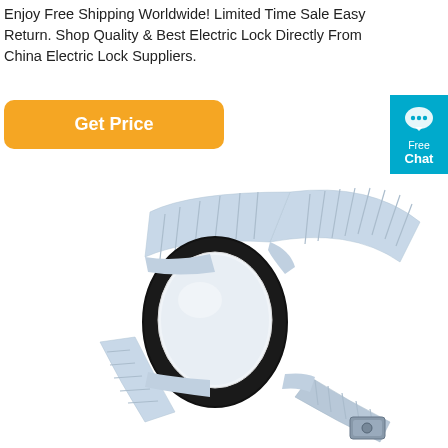Enjoy Free Shipping Worldwide! Limited Time Sale Easy Return. Shop Quality & Best Electric Lock Directly From China Electric Lock Suppliers.
[Figure (other): Orange rounded rectangle 'Get Price' button]
[Figure (other): Blue 'Free Chat' badge widget on right side with chat bubble icon]
[Figure (photo): Product photo of an RFID wristband with a black oval module and a light blue/silver ribbed elastic strap with a metal clasp, shown on white background]